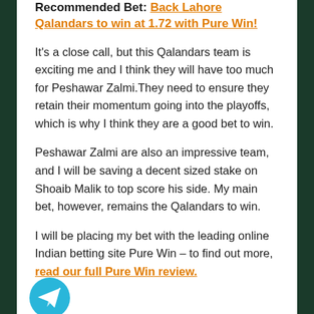Recommended Bet: Back Lahore Qalandars to win at 1.72 with Pure Win!
It's a close call, but this Qalandars team is exciting me and I think they will have too much for Peshawar Zalmi.They need to ensure they retain their momentum going into the playoffs, which is why I think they are a good bet to win.
Peshawar Zalmi are also an impressive team, and I will be saving a decent sized stake on Shoaib Malik to top score his side. My main bet, however, remains the Qalandars to win.
I will be placing my bet with the leading online Indian betting site Pure Win – to find out more, read our full Pure Win review.
[Figure (illustration): Telegram messenger icon — cyan circle with white paper plane]